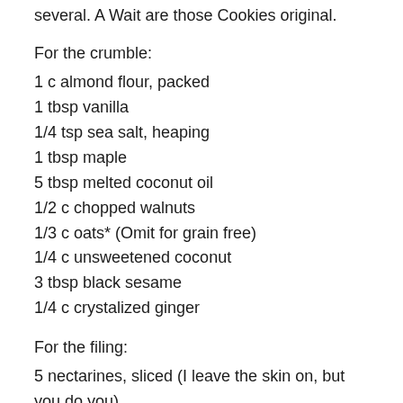several. A Wait are those Cookies original.
For the crumble:
1 c almond flour, packed
1 tbsp vanilla
1/4 tsp sea salt, heaping
1 tbsp maple
5 tbsp melted coconut oil
1/2 c chopped walnuts
1/3 c oats* (Omit for grain free)
1/4 c unsweetened coconut
3 tbsp black sesame
1/4 c crystalized ginger
For the filing:
5 nectarines, sliced (I leave the skin on, but you do you)